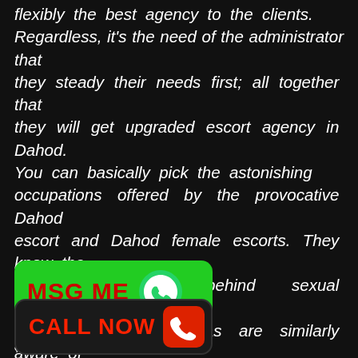flexibly the best agency to the clients. Regardless, it's the need of the administrator that they steady their needs first; all together that they will get upgraded escort agency in Dahod. You can basically pick the astonishing occupations offered by the provocative Dahod escort and Dahod female escorts. They know the certifiable snares behind sexual satisfaction, and the master escort divas are similarly aware of their clients' tendency and tendencies. Thus, this doubtlessly makes them keep men chipper for long with intriguing commitments and energetic best actually escort agency xpense of life. Call me to the oment around without getting any sort of tottering.
[Figure (other): Green MSG ME button with WhatsApp phone icon]
[Figure (other): Black CALL NOW button with red phone icon]